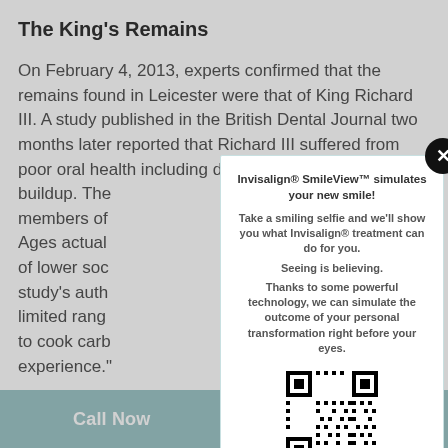The King's Remains
On February 4, 2013, experts confirmed that the remains found in Leicester were that of King Richard III. A study published in the British Dental Journal two months later reported that Richard III suffered from poor oral health including decay, as well as heavy calculus (tartar) buildup. The study's authors found that the members of the medieval nobility of the Middle Ages actually had worse oral health than people of lower socioeconomic backgrounds, because the study's authors thought that nobles had a limited range of foods in their diet and tended to cook carbohydrates — a different dietary experience."
[Figure (other): Modal popup advertisement for Invisalign SmileView with QR code]
Call Now
Book Now